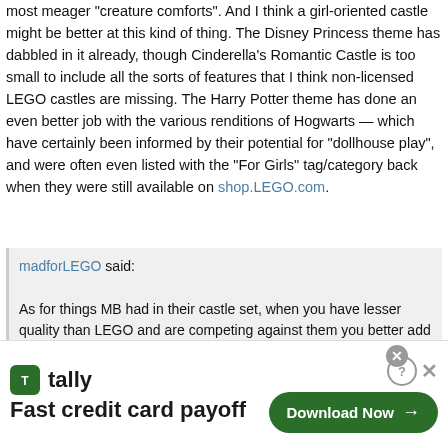most meager "creature comforts". And I think a girl-oriented castle might be better at this kind of thing. The Disney Princess theme has dabbled in it already, though Cinderella's Romantic Castle is too small to include all the sorts of features that I think non-licensed LEGO castles are missing. The Harry Potter theme has done an even better job with the various renditions of Hogwarts — which have certainly been informed by their potential for "dollhouse play", and were often even listed with the "For Girls" tag/category back when they were still available on shop.LEGO.com.
madforLEGO said: As for things MB had in their castle set, when you have lesser quality than LEGO and are competing against them you better add a ton into the set; also was that set with all of its bells and whistles cheaper or the same price as the LEGO set?
I'll let you see some pictures:
Left Side with blacksmith shop, armory, banquet hall, and storeroom
Right Side with bedroom, library/treasury, throne room, stable, and dungeon
[Figure (screenshot): Advertisement banner for Tally app - Fast credit card payoff with Download Now button]